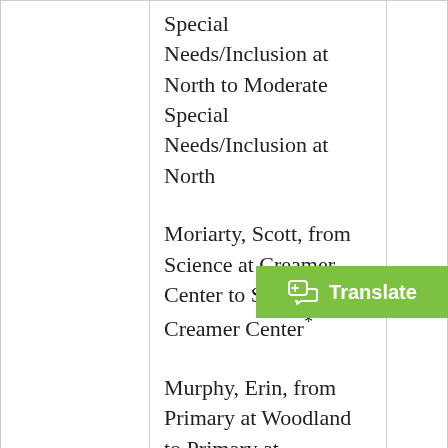Special Needs/Inclusion at North to Moderate Special Needs/Inclusion at North
Moriarty, Scott, from Science at Creamer Center to Science at Creamer Center*
Murphy, Erin, from Primary at Woodland to Primary at Woodland*
Murphy, Stephanie, from BCBA Systemwide to SAIL at Norrback